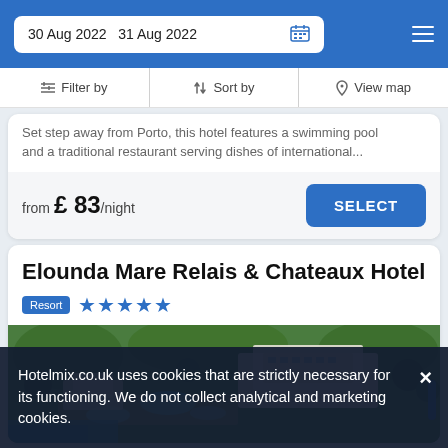30 Aug 2022  31 Aug 2022
Filter by  Sort by  View map
Set step away from Porto, this hotel features a swimming pool and a traditional restaurant serving dishes of international...
from £83/night  SELECT
Elounda Mare Relais & Chateaux Hotel
Resort ★★★★★
[Figure (photo): Aerial view of the Elounda Mare Relais & Chateaux Hotel resort, showing hotel buildings surrounded by green trees, swimming pools, and coastal waters.]
Hotelmix.co.uk uses cookies that are strictly necessary for its functioning. We do not collect analytical and marketing cookies.